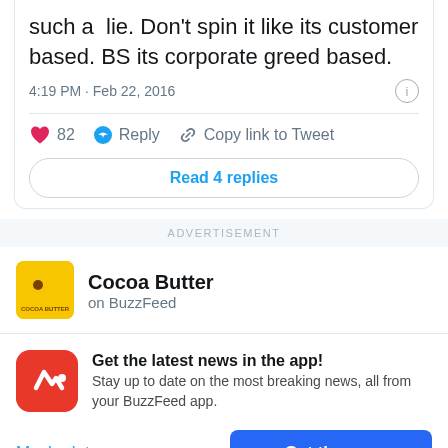such a lie. Don't spin it like its customer based. BS its corporate greed based.
4:19 PM · Feb 22, 2016
82  Reply  Copy link to Tweet
Read 4 replies
ADVERTISEMENT
Cocoa Butter on BuzzFeed
Get the latest news in the app! Stay up to date on the most breaking news, all from your BuzzFeed app.
Maybe later
Get the app